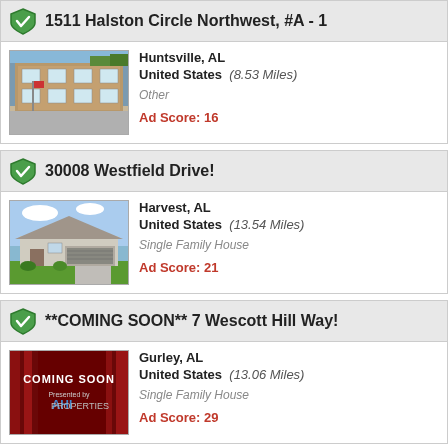1511 Halston Circle Northwest, #A - 1
[Figure (photo): Photo of a brick apartment building with parking lot]
Huntsville, AL
United States (8.53 Miles)
Other
Ad Score: 16
30008 Westfield Drive!
[Figure (photo): Photo of a single family house with green lawn and garage]
Harvest, AL
United States (13.54 Miles)
Single Family House
Ad Score: 21
**COMING SOON** 7 Wescott Hill Way!
[Figure (photo): Coming Soon placeholder image with red curtain background and AHI Properties logo]
Gurley, AL
United States (13.06 Miles)
Single Family House
Ad Score: 29